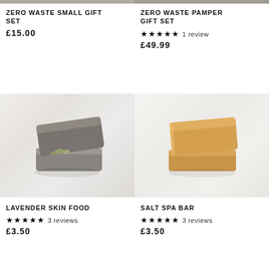[Figure (photo): Top portion of Zero Waste Small Gift Set product image on marble background (cropped)]
[Figure (photo): Top portion of Zero Waste Pamper Gift Set product image on marble background (cropped)]
ZERO WASTE SMALL GIFT SET
£15.00
ZERO WASTE PAMPER GIFT SET
★★★★★ 1 review
£49.99
[Figure (photo): Lavender Skin Food soap bars stacked on marble surface - grey/charcoal colored natural soap bars]
[Figure (photo): Salt Spa Bar soap bars stacked on marble surface - golden/honey colored natural soap bars]
LAVENDER SKIN FOOD
★★★★★ 3 reviews
£3.50
SALT SPA BAR
★★★★★ 3 reviews
£3.50